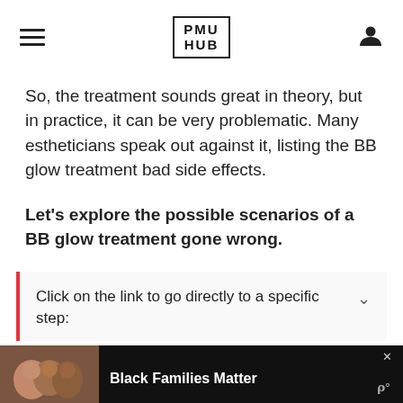PMU HUB
So, the treatment sounds great in theory, but in practice, it can be very problematic. Many estheticians speak out against it, listing the BB glow treatment bad side effects.
Let's explore the possible scenarios of a BB glow treatment gone wrong.
Click on the link to go directly to a specific step:
[Figure (photo): Advertisement banner at bottom showing Black Families Matter with a photo of people smiling]
Black Families Matter